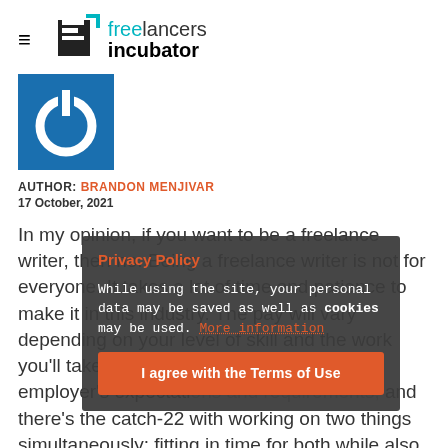freelancers incubator
[Figure (logo): Blue square logo with power button icon in white, representing Freelancers Incubator brand avatar]
AUTHOR: BRANDON MENJIVAR
17 October, 2021
In my opinion, if you want to be a freelance writer, then no. Being a freelance writer is not for everyone. It takes a lot of time and patience to make it in this industry. The pay will vary depending on your level of skill and the work you'll take on, which again may vary by employer's expectations and requirements, and there's the catch-22 with working on two things simultaneously: fitting in time for both while also
Privacy Policy
While using the site, your personal data may be saved as well as cookies may be used. More information
I agree with the Terms of Use